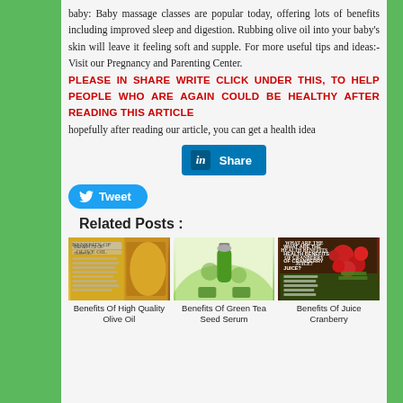baby: Baby massage classes are popular today, offering lots of benefits including improved sleep and digestion. Rubbing olive oil into your baby's skin will leave it feeling soft and supple. For more useful tips and ideas:-Visit our Pregnancy and Parenting Center.
PLEASE IN SHARE WRITE CLICK UNDER THIS, TO HELP PEOPLE WHO ARE AGAIN COULD BE HEALTHY AFTER READING THIS ARTICLE
hopefully after reading our article, you can get a health idea
[Figure (screenshot): LinkedIn Share button - blue rectangular button with LinkedIn 'in' logo and text 'Share']
[Figure (screenshot): Twitter Tweet button - blue rounded pill button with Twitter bird icon and text 'Tweet']
Related Posts :
[Figure (photo): Image of olive oil bottles with text overlay 'Benefits Of High Quality Olive Oil']
Benefits Of High Quality Olive Oil
[Figure (photo): Green tea seed serum product image with green bottle]
Benefits Of Green Tea Seed Serum
[Figure (photo): Cranberry juice health benefits infographic with red cranberries on dark wood background]
Benefits Of Juice Cranberry